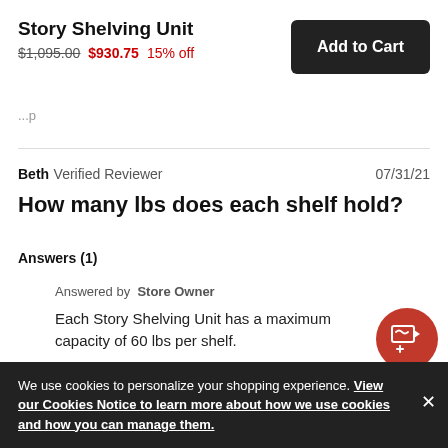Story Shelving Unit
$1,095.00  $930.75  15% off
Add to Cart
Beth  Verified Reviewer  07/31/21
How many lbs does each shelf hold?
Answers (1)
Answered by  Store Owner
Each Story Shelving Unit has a maximum capacity of 60 lbs per shelf.
We use cookies to personalize your shopping experience. View our Cookies Notice to learn more about how we use cookies and how you can manage them.